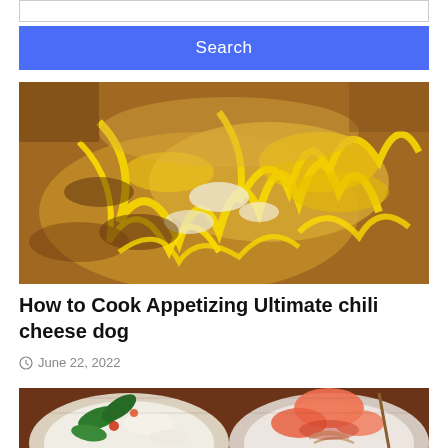[Figure (screenshot): Search button UI element with blue background and white 'Search' text]
[Figure (photo): Close-up photo of a chili cheese hot dog with yellow shredded cheese and onions on a bun]
How to Cook Appetizing Ultimate chili cheese dog
June 22, 2022
[Figure (photo): Photo of two plates of food: one with vegetables including jalapeños and onions, another with shrimp and noodles]